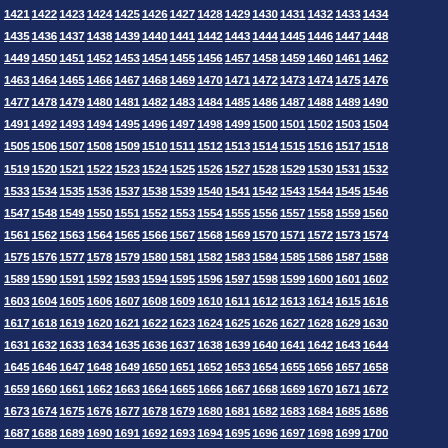1421 1422 1423 1424 1425 1426 1427 1428 1429 1430 1431 1432 1433 1434 1435 1436 1437 1438 1439 1440 1441 1442 1443 1444 1445 1446 1447 1448 1449 1450 1451 1452 1453 1454 1455 1456 1457 1458 1459 1460 1461 1462 1463 1464 1465 1466 1467 1468 1469 1470 1471 1472 1473 1474 1475 1476 1477 1478 1479 1480 1481 1482 1483 1484 1485 1486 1487 1488 1489 1490 1491 1492 1493 1494 1495 1496 1497 1498 1499 1500 1501 1502 1503 1504 1505 1506 1507 1508 1509 1510 1511 1512 1513 1514 1515 1516 1517 1518 1519 1520 1521 1522 1523 1524 1525 1526 1527 1528 1529 1530 1531 1532 1533 1534 1535 1536 1537 1538 1539 1540 1541 1542 1543 1544 1545 1546 1547 1548 1549 1550 1551 1552 1553 1554 1555 1556 1557 1558 1559 1560 1561 1562 1563 1564 1565 1566 1567 1568 1569 1570 1571 1572 1573 1574 1575 1576 1577 1578 1579 1580 1581 1582 1583 1584 1585 1586 1587 1588 1589 1590 1591 1592 1593 1594 1595 1596 1597 1598 1599 1600 1601 1602 1603 1604 1605 1606 1607 1608 1609 1610 1611 1612 1613 1614 1615 1616 1617 1618 1619 1620 1621 1622 1623 1624 1625 1626 1627 1628 1629 1630 1631 1632 1633 1634 1635 1636 1637 1638 1639 1640 1641 1642 1643 1644 1645 1646 1647 1648 1649 1650 1651 1652 1653 1654 1655 1656 1657 1658 1659 1660 1661 1662 1663 1664 1665 1666 1667 1668 1669 1670 1671 1672 1673 1674 1675 1676 1677 1678 1679 1680 1681 1682 1683 1684 1685 1686 1687 1688 1689 1690 1691 1692 1693 1694 1695 1696 1697 1698 1699 1700 1701 1702 1703 1704 1705 1706 1707 1708 1709 1710 1711 1712 1713 1714 1715 1716 1717 1718 1719 1720 1721 1722 1723 1724 1725 1726 1727 1728 1729 1730 1731 1732 1733 1734 1735 1736 1737 1738 1739 1740 1741 1742 1743 1744 1745 1746 1747 1748 1749 1750 1751 1752 1753 1754
I am the new girl
agen situs slot <simaroan@gmail.com>